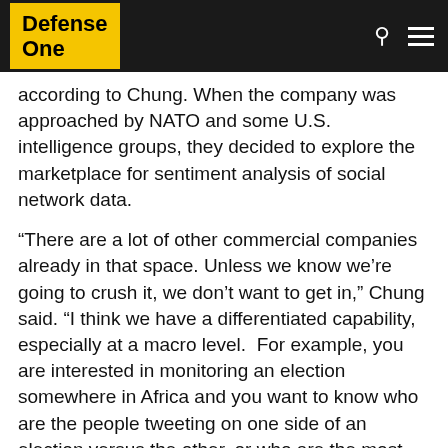Defense One
according to Chung. When the company was approached by NATO and some U.S. intelligence groups, they decided to explore the marketplace for sentiment analysis of social network data.
“There are a lot of other commercial companies already in that space. Unless we know we’re going to crush it, we don’t want to get in,” Chung said. “I think we have a differentiated capability, especially at a macro level.  For example, you are interested in monitoring an election somewhere in Africa and you want to know who are the people tweeting on one side of an election versus the other, or who are the most influential tweeters or you what if you have intelligence that an explosion is about to happen at a particular square, can you confirm that using Tweets?” That’s the sort of thing Palantir wants to help you with.